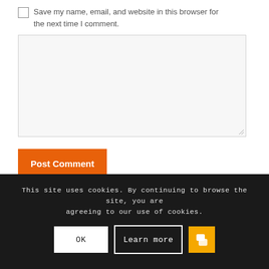Save my name, email, and website in this browser for the next time I comment.
[Figure (other): Empty textarea input field with resize handle at bottom right]
[Figure (other): Orange 'Post Comment' button]
This site uses cookies. By continuing to browse the site, you are agreeing to our use of cookies.
[Figure (other): Cookie consent buttons: OK, Learn more, and an orange chat button]